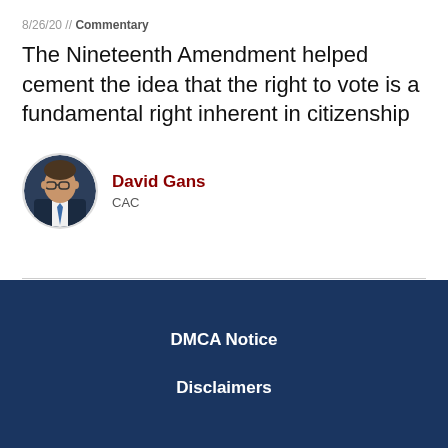8/26/20 // Commentary
The Nineteenth Amendment helped cement the idea that the right to vote is a fundamental right inherent in citizenship
David Gans
CAC
DMCA Notice
Disclaimers